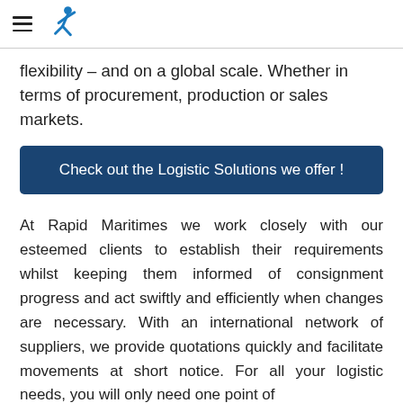Rapid Maritimes logo and navigation
flexibility – and on a global scale. Whether in terms of procurement, production or sales markets.
Check out the Logistic Solutions we offer !
At Rapid Maritimes we work closely with our esteemed clients to establish their requirements whilst keeping them informed of consignment progress and act swiftly and efficiently when changes are necessary. With an international network of suppliers, we provide quotations quickly and facilitate movements at short notice. For all your logistic needs, you will only need one point of